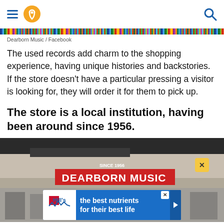navigation header with hamburger menu, location icon, and search icon
[Figure (photo): Colorful record sleeve spines arranged in a row, forming a rainbow-colored horizontal bar]
Dearborn Music / Facebook
The used records add charm to the shopping experience, having unique histories and backstories. If the store doesn't have a particular pressing a visitor is looking for, they will order it for them to pick up.
The store is a local institution, having been around since 1956.
[Figure (photo): Exterior photo of Dearborn Music store showing the store sign reading 'SINCE 1956 DEARBORN MUSIC' with an advertisement banner overlay for Hill's pet nutrition reading 'the best nutrients for their best life']